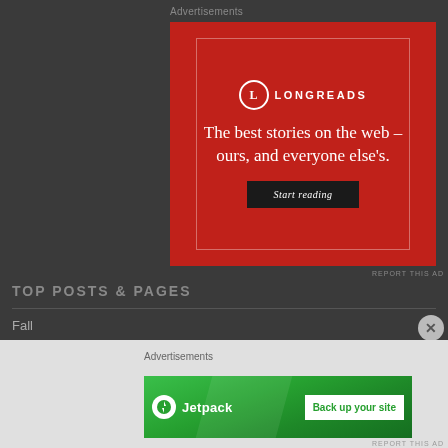Advertisements
[Figure (illustration): Longreads advertisement banner with red background. Shows Longreads logo (L in circle) with text 'The best stories on the web – ours, and everyone else's.' and a 'Start reading' button.]
REPORT THIS AD
TOP POSTS & PAGES
Fall
Advertisements
[Figure (illustration): Jetpack advertisement banner with green background. Shows Jetpack logo and 'Back up your site' button.]
REPORT THIS AD